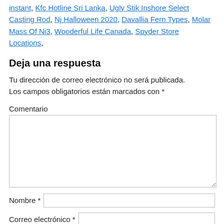instant, Kfc Hotline Sri Lanka, Ugly Stik Inshore Select Casting Rod, Nj Halloween 2020, Davallia Fern Types, Molar Mass Of Ni3, Wooderful Life Canada, Spyder Store Locations,
Deja una respuesta
Tu dirección de correo electrónico no será publicada. Los campos obligatorios están marcados con *
Comentario
Nombre *
Correo electrónico *
Web